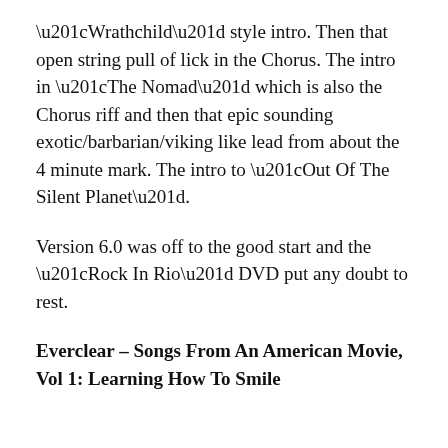“Wrathchild” style intro. Then that open string pull of lick in the Chorus. The intro in “The Nomad” which is also the Chorus riff and then that epic sounding exotic/barbarian/viking like lead from about the 4 minute mark. The intro to “Out Of The Silent Planet”.
Version 6.0 was off to the good start and the “Rock In Rio” DVD put any doubt to rest.
Everclear – Songs From An American Movie, Vol 1: Learning How To Smile